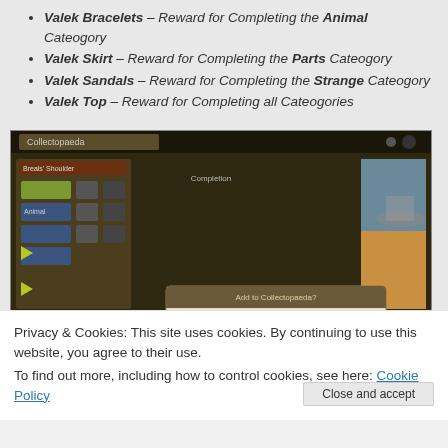Valek Bracelets – Reward for Completing the Animal Cateogory
Valek Skirt – Reward for Completing the Parts Cateogory
Valek Sandals – Reward for Completing the Strange Cateogory
Valek Top – Reward for Completing all Cateogories
[Figure (screenshot): Game screenshot showing Collectopaeda menu with 'Add to Collectopaeda?' dialog box. Dialog shows Gentledam item with Use: 1, Owned: 1, and Yes/No buttons, Yes highlighted in green.]
Privacy & Cookies: This site uses cookies. By continuing to use this website, you agree to their use.
To find out more, including how to control cookies, see here: Cookie Policy